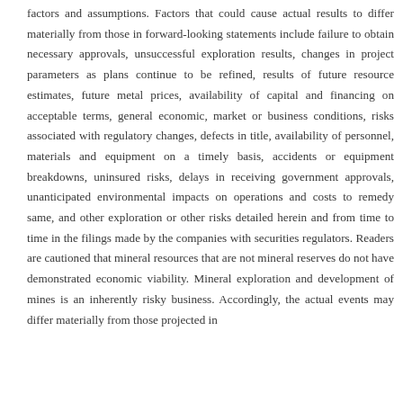factors and assumptions. Factors that could cause actual results to differ materially from those in forward-looking statements include failure to obtain necessary approvals, unsuccessful exploration results, changes in project parameters as plans continue to be refined, results of future resource estimates, future metal prices, availability of capital and financing on acceptable terms, general economic, market or business conditions, risks associated with regulatory changes, defects in title, availability of personnel, materials and equipment on a timely basis, accidents or equipment breakdowns, uninsured risks, delays in receiving government approvals, unanticipated environmental impacts on operations and costs to remedy same, and other exploration or other risks detailed herein and from time to time in the filings made by the companies with securities regulators. Readers are cautioned that mineral resources that are not mineral reserves do not have demonstrated economic viability. Mineral exploration and development of mines is an inherently risky business. Accordingly, the actual events may differ materially from those projected in